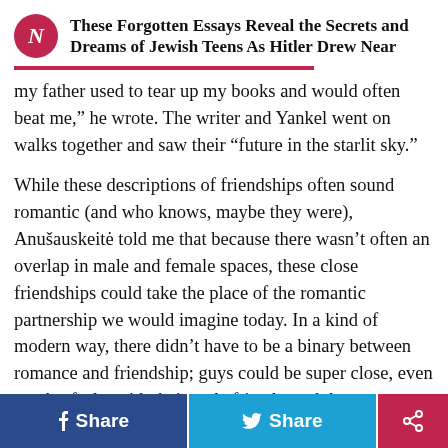These Forgotten Essays Reveal the Secrets and Dreams of Jewish Teens As Hitler Drew Near
my father used to tear up my books and would often beat me,” he wrote. The writer and Yankel went on walks together and saw their “future in the starlit sky.”
While these descriptions of friendships often sound romantic (and who knows, maybe they were), Anušauskeitė told me that because there wasn’t often an overlap in male and female spaces, these close friendships could take the place of the romantic partnership we would imagine today. In a kind of modern way, there didn’t have to be a binary between romance and friendship; guys could be super close, even touchy-feely, with their male friends, and the same was true among girls.
f Share   Share   [share icon]